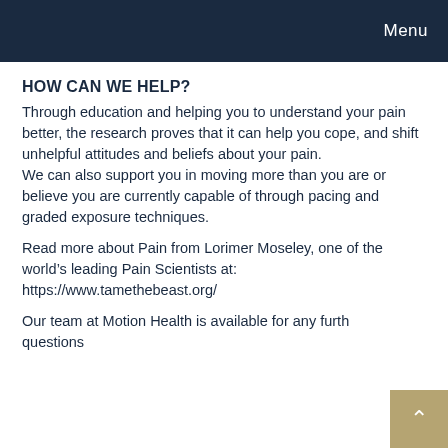Menu
HOW CAN WE HELP?
Through education and helping you to understand your pain better, the research proves that it can help you cope, and shift unhelpful attitudes and beliefs about your pain.
We can also support you in moving more than you are or believe you are currently capable of through pacing and graded exposure techniques.
Read more about Pain from Lorimer Moseley, one of the world’s leading Pain Scientists at:
https://www.tamethebeast.org/
Our team at Motion Health is available for any further questions